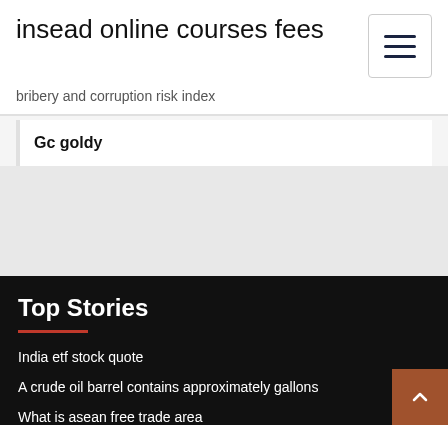insead online courses fees
bribery and corruption risk index
Gc goldy
Top Stories
India etf stock quote
A crude oil barrel contains approximately gallons
What is asean free trade area